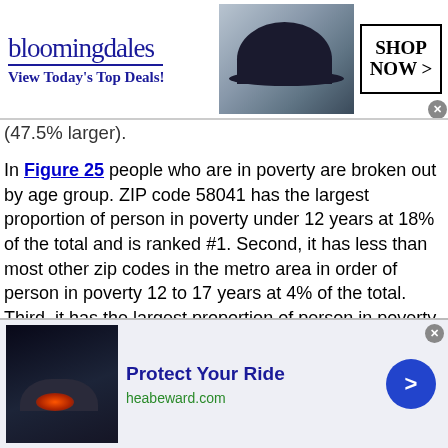[Figure (other): Bloomingdale's advertisement banner: logo text 'bloomingdales', tagline 'View Today's Top Deals!', photo of woman with large hat, 'SHOP NOW >' button in box]
(47.5% larger).
In Figure 25 people who are in poverty are broken out by age group. ZIP code 58041 has the largest proportion of person in poverty under 12 years at 18% of the total and is ranked #1. Second, it has less than most other zip codes in the metro area in order of person in poverty 12 to 17 years at 4% of the total. Third, it has the largest proportion of person in poverty 18 to 34 years at 36% of the total and is ranked #1. Also, it has less than most other zip codes in the local area in order of person in poverty 55 to 64 years at 19% of the total.
[Figure (other): Advertisement: 'Protect Your Ride' with car image, heabeward.com URL, and blue arrow button]